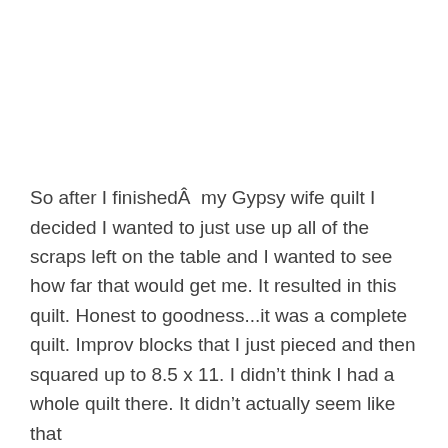So after I finishedÂ  my Gypsy wife quilt I decided I wanted to just use up all of the scraps left on the table and I wanted to see how far that would get me. It resulted in this quilt. Honest to goodness...it was a complete quilt. Improv blocks that I just pieced and then squared up to 8.5 x 11. I didn’t think I had a whole quilt there. It didn’t actually seem like that